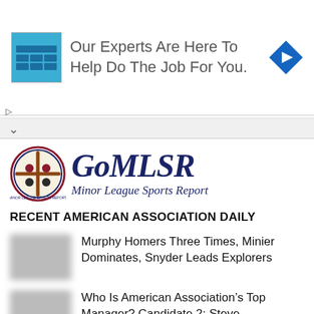[Figure (infographic): Advertisement banner with a blue app icon showing a table/grid layout, text 'Our Experts Are Here To Help Do The Job For You.' and a blue diamond navigation arrow icon on the right]
[Figure (logo): GoMLSR Minor League Sports Report logo with circular sports emblem and italic serif text]
RECENT AMERICAN ASSOCIATION DAILY
Murphy Homers Three Times, Minier Dominates, Snyder Leads Explorers
Who Is American Association's Top Manager? Candidate 2: Steve Montgomery, Sioux City Explorers